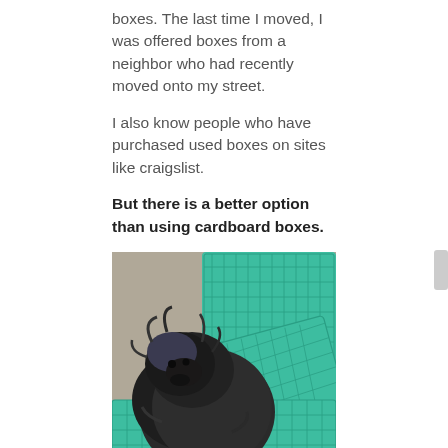boxes. The last time I moved, I was offered boxes from a neighbor who had recently moved onto my street.
I also know people who have purchased used boxes on sites like craigslist.
But there is a better option than using cardboard boxes.
[Figure (photo): A small dark fluffy dog sitting inside a teal/green plastic moving crate, with more stacked green plastic crates visible behind it.]